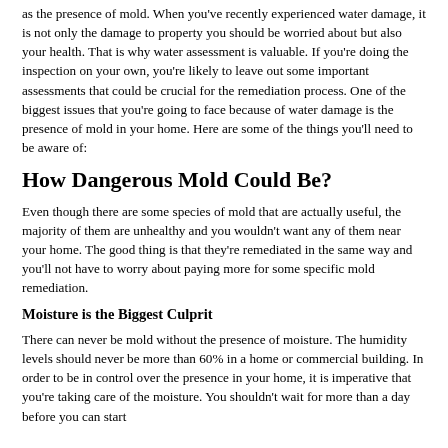as the presence of mold. When you've recently experienced water damage, it is not only the damage to property you should be worried about but also your health. That is why water assessment is valuable. If you're doing the inspection on your own, you're likely to leave out some important assessments that could be crucial for the remediation process. One of the biggest issues that you're going to face because of water damage is the presence of mold in your home. Here are some of the things you'll need to be aware of:
How Dangerous Mold Could Be?
Even though there are some species of mold that are actually useful, the majority of them are unhealthy and you wouldn't want any of them near your home. The good thing is that they're remediated in the same way and you'll not have to worry about paying more for some specific mold remediation.
Moisture is the Biggest Culprit
There can never be mold without the presence of moisture. The humidity levels should never be more than 60% in a home or commercial building. In order to be in control over the presence in your home, it is imperative that you're taking care of the moisture. You shouldn't wait for more than a day before you can start